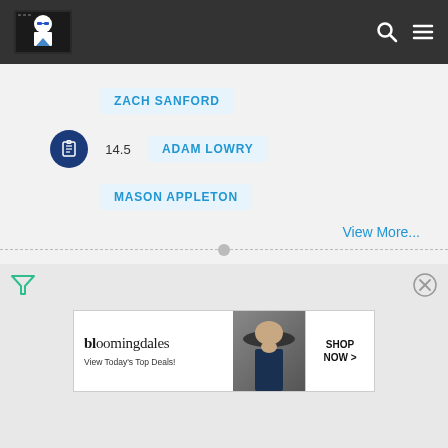[Figure (logo): Website logo with illustrated figure wearing sunglasses on dark header]
ZACH SANFORD
14.5  ADAM LOWRY
MASON APPLETON
View More...
[Figure (other): Bloomingdale's advertisement banner: bloomingdales - View Today's Top Deals! - SHOP NOW >]